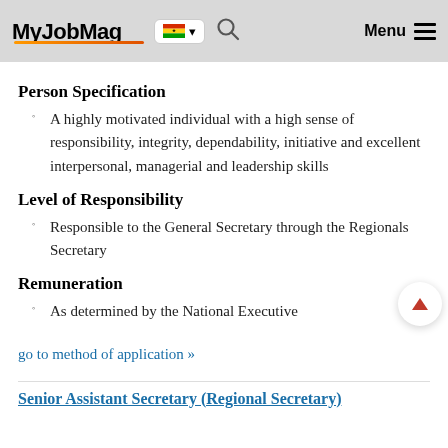MyJobMag Menu
Person Specification
A highly motivated individual with a high sense of responsibility, integrity, dependability, initiative and excellent interpersonal, managerial and leadership skills
Level of Responsibility
Responsible to the General Secretary through the Regionals Secretary
Remuneration
As determined by the National Executive
go to method of application »
Senior Assistant Secretary (Regional Secretary)